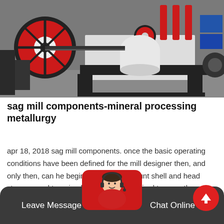[Figure (photo): Industrial SAG mill machinery with large red and black flywheels, white cylindrical body on black steel frame, in a workshop environment]
sag mill components-mineral processing metallurgy
apr 18, 2018 sag mill components. once the basic operating conditions have been defined for the mill designer then, and only then, can he begin taking into account shell and head stresses and trunnion bearing sizes required to carry the load and to give the
Leave Message  Chat Online